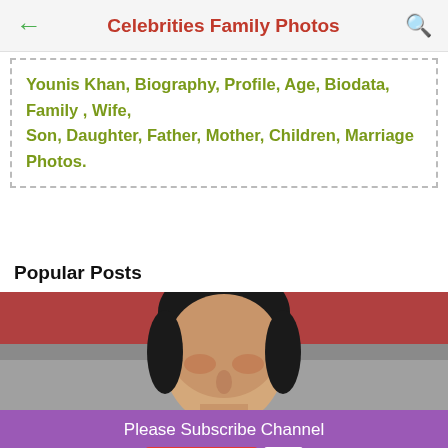Celebrities Family Photos
Younis Khan, Biography, Profile, Age, Biodata, Family , Wife, Son, Daughter, Father, Mother, Children, Marriage Photos.
Popular Posts
[Figure (photo): Photo of a man with dark hair, partial face visible, indoor/outdoor background with red and grey tones]
Please Subscribe Channel
YouTube 2K